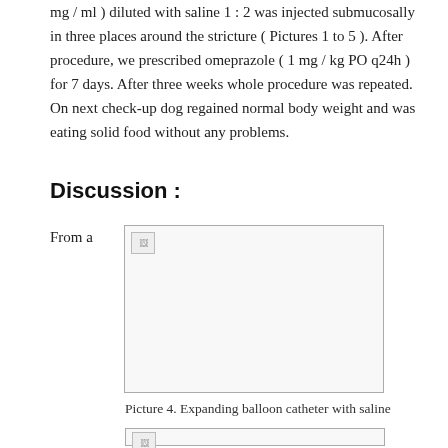mg / ml ) diluted with saline 1 : 2 was injected submucosally in three places around the stricture ( Pictures 1 to 5 ). After procedure, we prescribed omeprazole ( 1 mg / kg PO q24h ) for 7 days. After three weeks whole procedure was repeated. On next check-up dog regained normal body weight and was eating solid food without any problems.
Discussion :
From a
[Figure (photo): Photograph showing expanding balloon catheter with saline (image not loaded, shown as broken image placeholder)]
Picture 4. Expanding balloon catheter with saline
[Figure (photo): Another figure/picture partially visible at the bottom of the page (image not loaded, shown as broken image placeholder)]